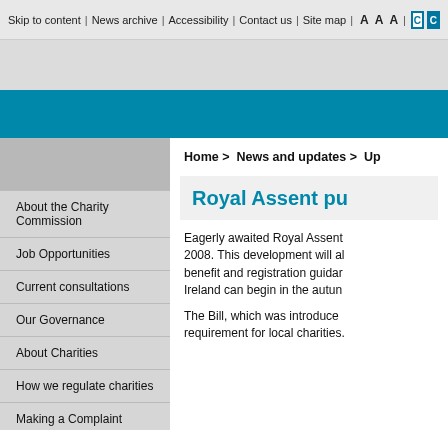Skip to content | News archive | Accessibility | Contact us | Site map | A A A | C C
Home > News and updates > Up...
Royal Assent pu...
Eagerly awaited Royal Assent ... 2008. This development will al... benefit and registration guidan... Ireland can begin in the autum...
The Bill, which was introduced... requirement for local charities.
About the Charity Commission
Job Opportunities
Current consultations
Our Governance
About Charities
How we regulate charities
Making a Complaint
Contacting us